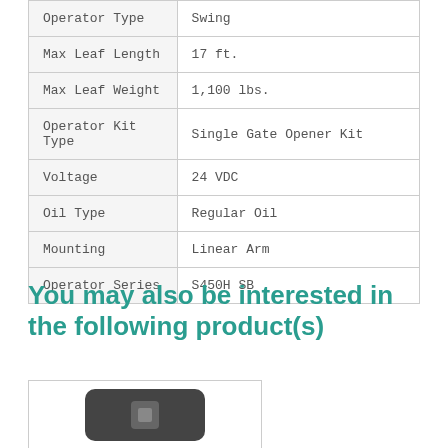| Attribute | Value |
| --- | --- |
| Operator Type | Swing |
| Max Leaf Length | 17 ft. |
| Max Leaf Weight | 1,100 lbs. |
| Operator Kit Type | Single Gate Opener Kit |
| Voltage | 24 VDC |
| Oil Type | Regular Oil |
| Mounting | Linear Arm |
| Operator Series | S450H SB |
You may also be interested in the following product(s)
[Figure (photo): A dark-colored remote control device shown inside a bordered product box]